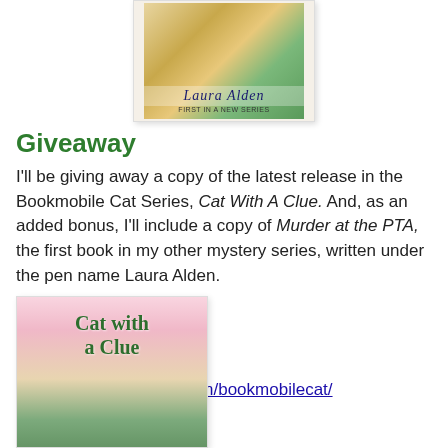[Figure (photo): Book cover for Murder at the PTA by Laura Alden, partially visible at top of page, showing illustrated cover with author name]
Giveaway
I'll be giving away a copy of the latest release in the Bookmobile Cat Series, Cat With A Clue. And, as an added bonus, I'll include a copy of Murder at the PTA, the first book in my other mystery series, written under the pen name Laura Alden.
Website
http://catmystery.com/
Facebook link
https://www.facebook.com/bookmobilecat/
[Figure (photo): Book cover for Cat with a Clue showing illustrated cover with pink sky, building, and green title text]